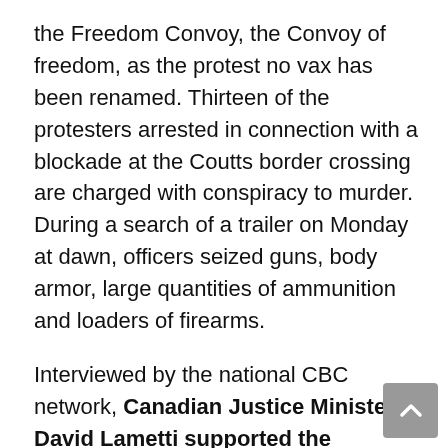the Freedom Convoy, the Convoy of freedom, as the protest no vax has been renamed. Thirteen of the protesters arrested in connection with a blockade at the Coutts border crossing are charged with conspiracy to murder. During a search of a trailer on Monday at dawn, officers seized guns, body armor, large quantities of ammunition and loaders of firearms.
Interviewed by the national CBC network, Canadian Justice Minister David Lametti supported the decision to decree a state of emergency: beyond the ability of the provinces to face this critical situation alone – he said – I think the threat of serious violence is real. I think the threat to critical infrastructure is real … and so we need to act.